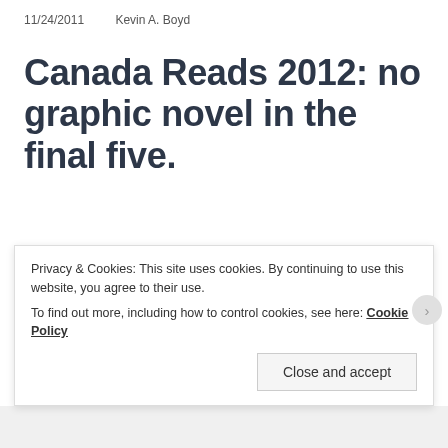11/24/2011    Kevin A. Boyd
Canada Reads 2012: no graphic novel in the final five.
CBC has announced the final five books for Canada Reads 2012. Chester Brown's Louis Riel did not make it, so there are no graphic novels in this year's competition, so this will be our last report on it here at
Privacy & Cookies: This site uses cookies. By continuing to use this website, you agree to their use.
To find out more, including how to control cookies, see here: Cookie Policy
Close and accept